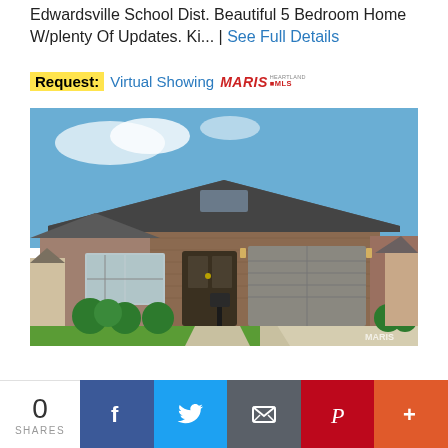Edwardsville School Dist. Beautiful 5 Bedroom Home W/plenty Of Updates. Ki... | See Full Details
Request: Virtual Showing MARIS MLS
[Figure (photo): Exterior photo of a single-story brick ranch home with gray roof, two-car garage, green lawn, blue sky, and a mailbox in the foreground. MARIS watermark in bottom right corner.]
0 SHARES
[Figure (infographic): Social sharing bar with Facebook, Twitter, Email, Pinterest, and More (+) buttons]